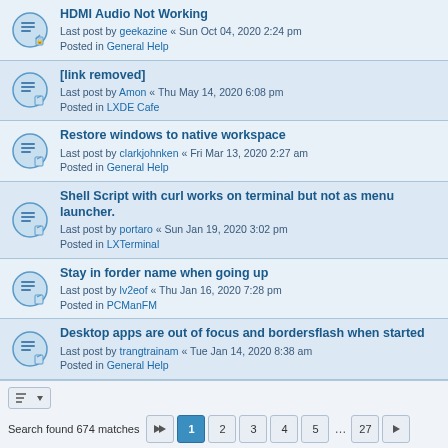HDMI Audio Not Working
Last post by geekazine « Sun Oct 04, 2020 2:24 pm
Posted in General Help
[link removed]
Last post by Amon « Thu May 14, 2020 6:08 pm
Posted in LXDE Cafe
Restore windows to native workspace
Last post by clarkjohnken « Fri Mar 13, 2020 2:27 am
Posted in General Help
Shell Script with curl works on terminal but not as menu launcher.
Last post by portaro « Sun Jan 19, 2020 3:02 pm
Posted in LXTerminal
Stay in forder name when going up
Last post by lv2eof « Thu Jan 16, 2020 7:28 pm
Posted in PCManFM
Desktop apps are out of focus and bordersflash when started
Last post by trangtrainam « Tue Jan 14, 2020 8:38 am
Posted in General Help
Search found 674 matches
Page 1 of 27. Pages: 1 2 3 4 5 ... 27